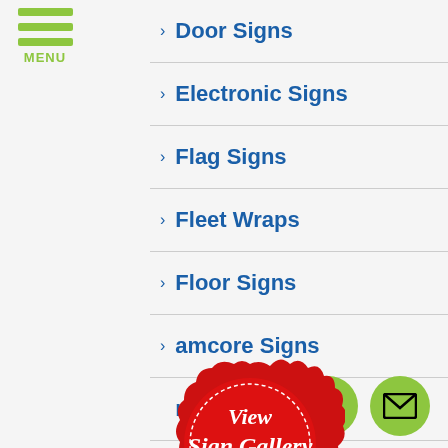Door Signs
Electronic Signs
Flag Signs
Fleet Wraps
Floor Signs
Foamcore Signs
Hanging Signs
Informational Signs
LED Signs
[Figure (illustration): Red badge/stamp with gold ribbon banner reading 'View Sign Gallery CLICK HERE']